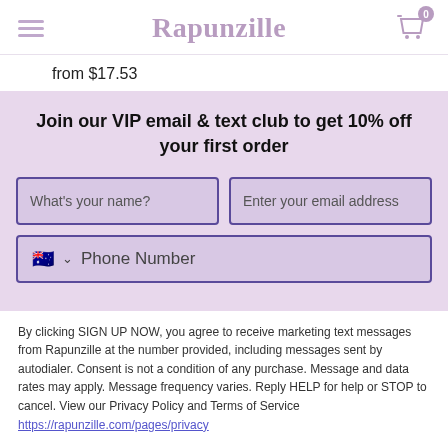Rapunzille
from $17.53
Join our VIP email & text club to get 10% off your first order
What's your name?  |  Enter your email address
Phone Number
By clicking SIGN UP NOW, you agree to receive marketing text messages from Rapunzille at the number provided, including messages sent by autodialer. Consent is not a condition of any purchase. Message and data rates may apply. Message frequency varies. Reply HELP for help or STOP to cancel. View our Privacy Policy and Terms of Service https://rapunzille.com/pages/privacy